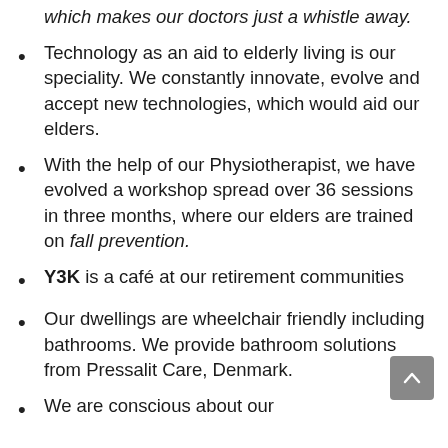which makes our doctors just a whistle away.
Technology as an aid to elderly living is our speciality. We constantly innovate, evolve and accept new technologies, which would aid our elders.
With the help of our Physiotherapist, we have evolved a workshop spread over 36 sessions in three months, where our elders are trained on fall prevention.
Y3K is a café at our retirement communities
Our dwellings are wheelchair friendly including bathrooms. We provide bathroom solutions from Pressalit Care, Denmark.
We are conscious about our